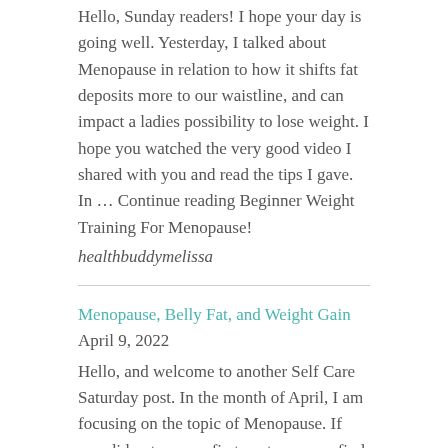Hello, Sunday readers! I hope your day is going well. Yesterday, I talked about Menopause in relation to how it shifts fat deposits more to our waistline, and can impact a ladies possibility to lose weight. I hope you watched the very good video I shared with you and read the tips I gave. In … Continue reading Beginner Weight Training For Menopause!
healthbuddymelissa
Menopause, Belly Fat, and Weight Gain April 9, 2022
Hello, and welcome to another Self Care Saturday post. In the month of April, I am focusing on the topic of Menopause. If you did not see my first post, you can find it in the archives. Menopause is a fact of life. It is part of the middle ages, and there are different aspects … Continue reading Menopause, Belly Fat, and Weight Gain